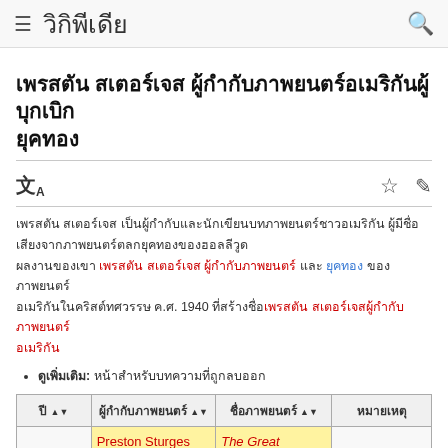≡ วิกิพีเดีย 🔍
สแตนลีย์ คูบริก (Thai Wikipedia article title in Thai script)
Thai body paragraph with red and blue wikilinks and year 1940
ดูเพิ่ม: หน้าสำหรับบทความที่ถูกลบ
| ปี ⇕ | ผู้กำกับ ⇕ | ชื่อภาพยนตร์ ⇕ | หมายเหตุ |
| --- | --- | --- | --- |
|  | Preston Sturges | The Great |  |